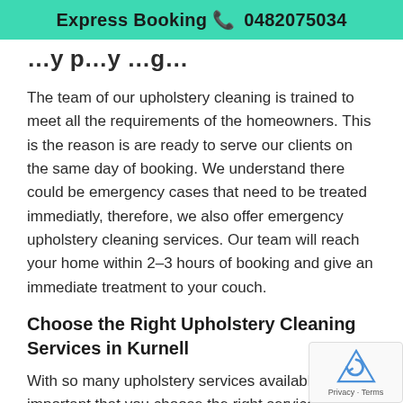Express Booking 📞 0482075034
…y p…y …g…
The team of our upholstery cleaning is trained to meet all the requirements of the homeowners. This is the reason is are ready to serve our clients on the same day of booking. We understand there could be emergency cases that need to be treated immediatly, therefore, we also offer emergency upholstery cleaning services. Our team will reach your home within 2-3 hours of booking and give an immediate treatment to your couch.
Choose the Right Upholstery Cleaning Services in Kurnell
With so many upholstery services available it's important that you choose the right services for y… us tell you how?